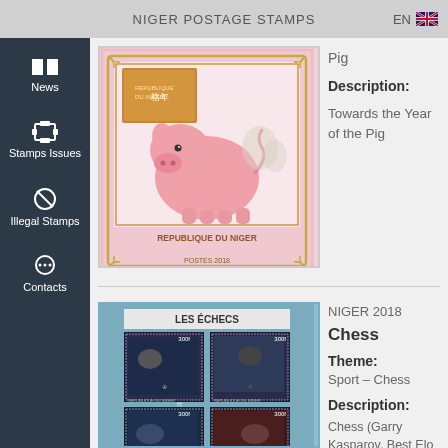NIGER POSTAGE STAMPS  EN
News
Stamps Issues
Illegal Stamps
Contacts
Pig
Description:
Towards the Year of the Pig
[Figure (illustration): Niger postage stamp showing Year of the Pig illustration with a pink pig and decorative border, REPUBLIQUE DU NIGER, POSTES 2018]
NIGER 2018
Chess
Theme:
Sport – Chess
Description:
Chess (Garry Kasparov, Best Elo ranking of
[Figure (illustration): Niger 2018 chess stamp sheet LES ÉCHECS showing 4 stamps with chess players including Garry Kasparov, each 300f, REPUBLIQUE DU NIGER border]